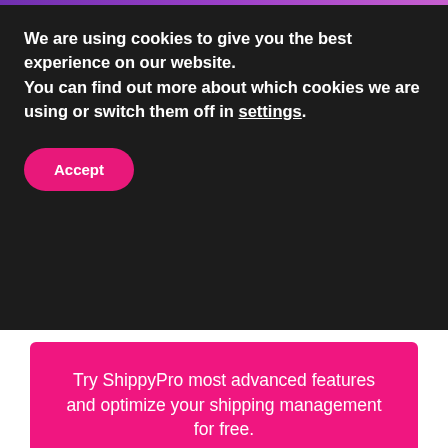We are using cookies to give you the best experience on our website.
You can find out more about which cookies we are using or switch them off in settings.
Accept
Try ShippyPro most advanced features and optimize your shipping management for free.
Start your free trial
[Figure (logo): ShippyPro logo with infinity symbol in teal/green gradient and 'ShippyPro' text in dark color]